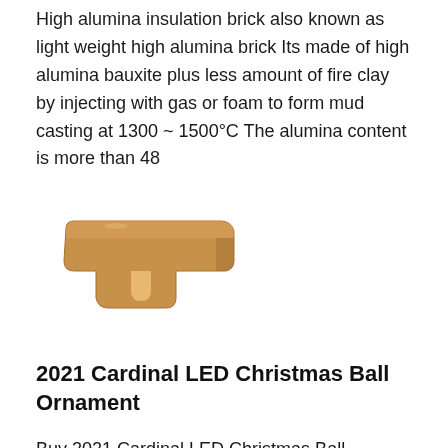High alumina insulation brick also known as light weight high alumina brick Its made of high alumina bauxite plus less amount of fire clay by injecting with gas or foam to form mud casting at 1300 ~ 1500°C The alumina content is more than 48
[Figure (photo): A tan/orange colored L-shaped or bracket-shaped high alumina insulation brick with a notched cutout, photographed on a white background.]
2021 Cardinal LED Christmas Ball Ornament
Buy 2021 Cardinal LED Christmas Ball Ornament Light Up with a Winter Cardinal Scene 2 Poly Stone Cardinals Surrounded by Snow Inside the Globe Includes a 5 Hour Timer and an Extra Set of Batteries Hanging Ornaments FREE DELIVERY possible on eligible purchases